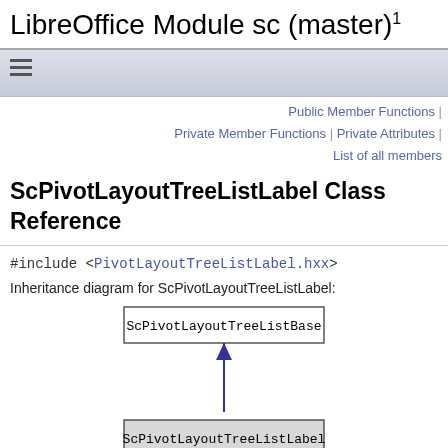LibreOffice Module sc (master) 1
[Figure (other): Navigation hamburger icon bar]
Public Member Functions | Private Member Functions | Private Attributes | List of all members
ScPivotLayoutTreeListLabel Class Reference
#include <PivotLayoutTreeListLabel.hxx>
Inheritance diagram for ScPivotLayoutTreeListLabel:
[Figure (other): Inheritance diagram showing ScPivotLayoutTreeListBase at top connected by arrow to ScPivotLayoutTreeListLabel at bottom]
[legend]